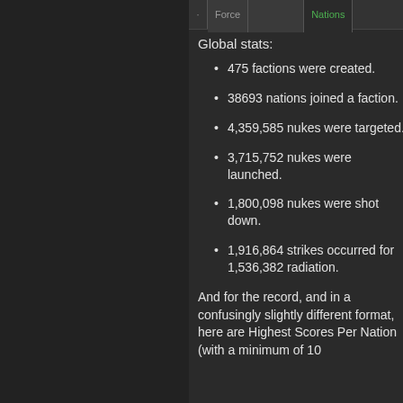Force | Nations
Global stats:
475 factions were created.
38693 nations joined a faction.
4,359,585 nukes were targeted.
3,715,752 nukes were launched.
1,800,098 nukes were shot down.
1,916,864 strikes occurred for 1,536,382 radiation.
And for the record, and in a confusingly slightly different format, here are Highest Scores Per Nation (with a minimum of 10